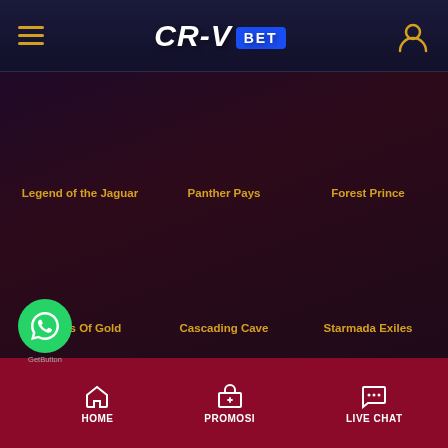CR-V BET
Legend of the Jaguar
Panther Pays
Forest Prince
5 Ages Of Gold
Cascading Cave
Starmada Exiles
HOME   PROMOSI   LIVE CHAT